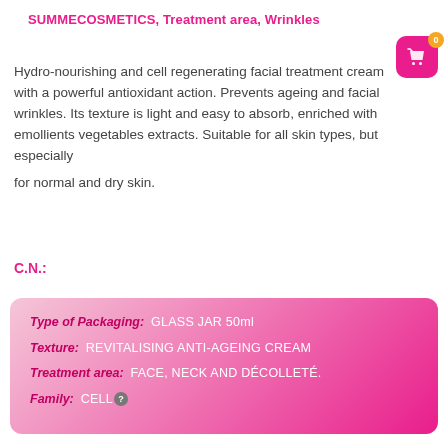SUMMECOSMETICS, Treatment area, Wrinkles
Hydro-nourishing and cell regenerating facial treatment cream with a powerful antioxidant action. Prevents ageing and facial wrinkles. Its texture is light and easy to absorb, enriched with emollients vegetables extracts. Suitable for all skin types, but especially for normal and dry skin.
C.N.:
| Type of Packaging: | GLASS JAR 50ml |
| Texture: | REVITALISING ANTI-AGEING CREAM |
| Treatment area: | FACE, NECK AND DÉCOLLETÉ. |
| Family: | CELL |